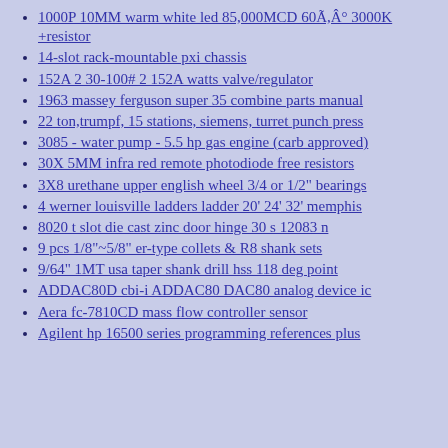1000P 10MM warm white led 85,000MCD 60Ã,Â° 3000K +resistor
14-slot rack-mountable pxi chassis
152A 2 30-100# 2 152A watts valve/regulator
1963 massey ferguson super 35 combine parts manual
22 ton,trumpf, 15 stations, siemens, turret punch press
3085 - water pump - 5.5 hp gas engine (carb approved)
30X 5MM infra red remote photodiode free resistors
3X8 urethane upper english wheel 3/4 or 1/2" bearings
4 werner louisville ladders ladder 20' 24' 32' memphis
8020 t slot die cast zinc door hinge 30 s 12083 n
9 pcs 1/8"~5/8" er-type collets & R8 shank sets
9/64" 1MT usa taper shank drill hss 118 deg point
ADDAC80D cbi-i ADDAC80 DAC80 analog device ic
Aera fc-7810CD mass flow controller sensor
Agilent hp 16500 series programming references plus